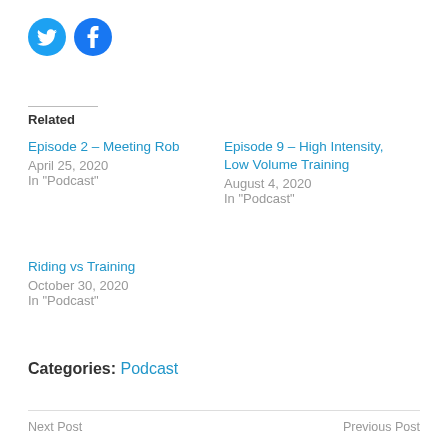[Figure (illustration): Two circular social media icon buttons: Twitter (blue bird icon) and Facebook (blue f icon)]
Related
Episode 2 – Meeting Rob
April 25, 2020
In "Podcast"
Episode 9 – High Intensity, Low Volume Training
August 4, 2020
In "Podcast"
Riding vs Training
October 30, 2020
In "Podcast"
Categories: Podcast
Next Post    Previous Post